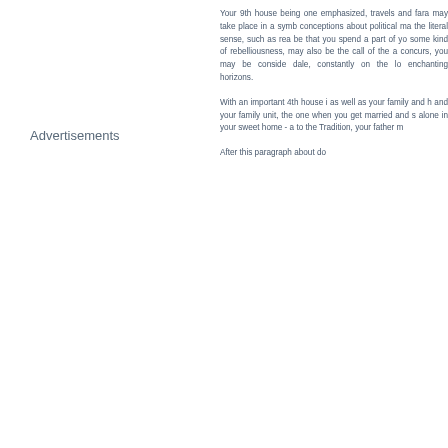Advertisements
Your 9th house being one emphasized, travels and fara may take place in a symb conceptions about political ma the literal sense, such as rea be that you spend a part of yo some kind of rebelliousness, may also be the call of the a concurs, you may be conside dale, constantly on the lo enchanting horizons.
With an important 4th house i as well as your family and h and your family unit, the one when you get married and s alone in your sweet home - a to the Tradition, your father m
After this paragraph about do